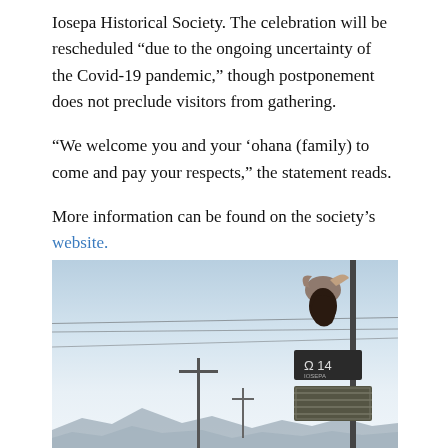Iosepa Historical Society. The celebration will be rescheduled “due to the ongoing uncertainty of the Covid-19 pandemic,” though postponement does not preclude visitors from gathering.
“We welcome you and your ‘ohana (family) to come and pay your respects,” the statement reads.
More information can be found on the society’s website.
[Figure (photo): Outdoor photo with pale blue sky and mountains in the background, featuring a tall metal pole on the right with a decorative warrior head sign and additional signs, plus utility poles with wires strung across.]